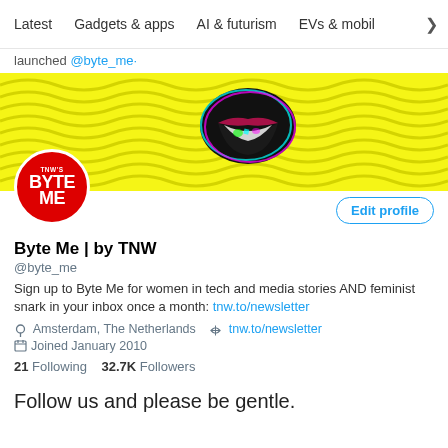Latest   Gadgets & apps   AI & futurism   EVs & mobil >
launched @byte_me·
[Figure (screenshot): Twitter/X profile page for Byte Me | by TNW (@byte_me). Banner with yellow wavy lines and glitchy lips logo in center. Red circular avatar with white BYTE ME text and TNW's label. Edit profile button on right.]
Byte Me | by TNW
@byte_me
Sign up to Byte Me for women in tech and media stories AND feminist snark in your inbox once a month: tnw.to/newsletter
Amsterdam, The Netherlands   tnw.to/newsletter
Joined January 2010
21 Following   32.7K Followers
Follow us and please be gentle.